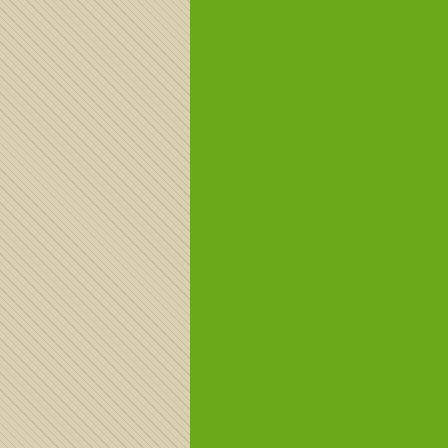Fgnspexi...
Em: 09/12...

buy cialis ...
MarcusSu...
Em: 09/12...

ed treatme...
https://jilir....
generic ed...
WalterSav...
Em: 09/12...

zithromax ...
otc ed dru...